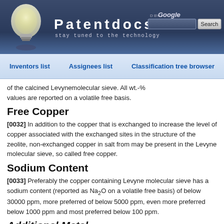[Figure (screenshot): Patentdocs website header with lightbulb logo, site title 'Patentdocs', tagline 'stay tuned to the technology', and Google search box with Search button]
Inventors list   Assignees list   Classification tree browser
of the calcined Levynemolecular sieve. All wt.-% values are reported on a volatile free basis.
Free Copper
[0032] In addition to the copper that is exchanged to increase the level of copper associated with the exchanged sites in the structure of the zeolite, non-exchanged copper in salt from may be present in the Levyne molecular sieve, so called free copper.
Sodium Content
[0033] Preferably the copper containing Levyne molecular sieve has a sodium content (reported as Na2O on a volatile free basis) of below 30000 ppm, more preferred of below 5000 ppm, even more preferred below 1000 ppm and most preferred below 100 ppm.
Additional Metal